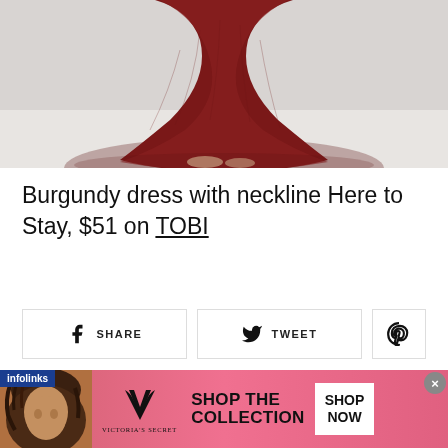[Figure (photo): Bottom portion of a burgundy/dark red flowing tulle dress on a model, showing the skirt spreading on a white floor against a light grey wall.]
Burgundy dress with neckline Here to Stay, $51 on TOBI
[Figure (screenshot): Social sharing buttons: SHARE (Facebook), TWEET (Twitter), and Pinterest icon buttons in a horizontal row.]
[Figure (screenshot): infolinks advertisement banner for Victoria's Secret showing a model, VS logo, 'SHOP THE COLLECTION' text, and a 'SHOP NOW' button on a pink background.]